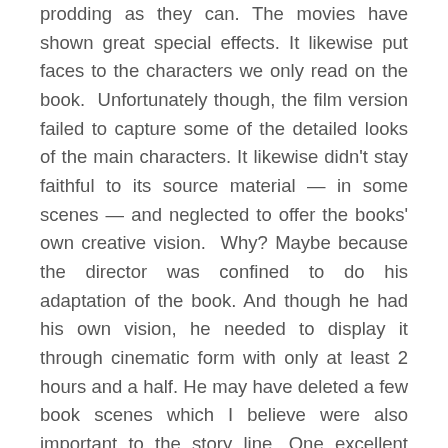prodding as they can. The movies have shown great special effects. It likewise put faces to the characters we only read on the book. Unfortunately though, the film version failed to capture some of the detailed looks of the main characters. It likewise didn't stay faithful to its source material — in some scenes — and neglected to offer the books' own creative vision. Why? Maybe because the director was confined to do his adaptation of the book. And though he had his own vision, he needed to display it through cinematic form with only at least 2 hours and a half. He may have deleted a few book scenes which I believe were also important to the story line. One excellent example was